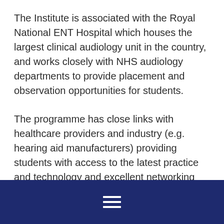The Institute is associated with the Royal National ENT Hospital which houses the largest clinical audiology unit in the country, and works closely with NHS audiology departments to provide placement and observation opportunities for students.
The programme has close links with healthcare providers and industry (e.g. hearing aid manufacturers) providing students with access to the latest practice and technology and excellent networking opportunities.
Read about what you'll get out of a graduate programme
[Figure (other): Dark navy blue footer bar with a hamburger menu icon (three horizontal white lines) centered within it.]